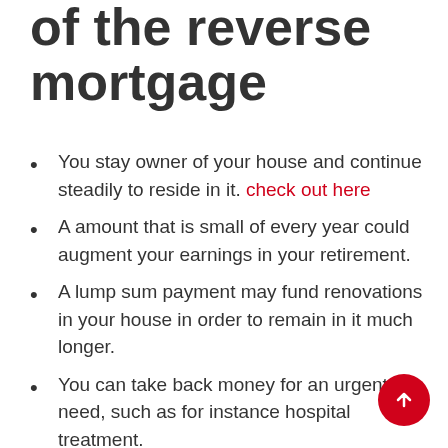of the reverse mortgage
You stay owner of your house and continue steadily to reside in it. check out here
A amount that is small of every year could augment your earnings in your retirement.
A lump sum payment may fund renovations in your house in order to remain in it much longer.
You can take back money for an urgent need, such as for instance hospital treatment.
It would likely help secure aged care accommodation before you offensive